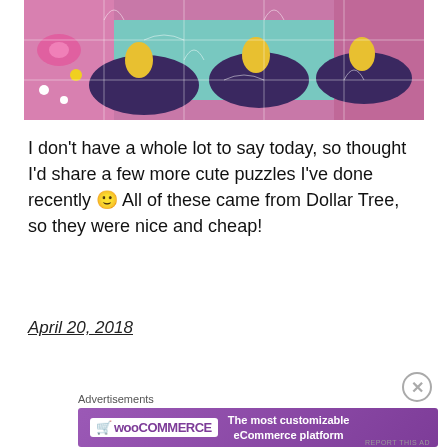[Figure (photo): Close-up photo of a jigsaw puzzle featuring Disney Minnie Mouse and Donald Duck characters on a pink and teal background, showing puzzle piece seams]
I don't have a whole lot to say today, so thought I'd share a few more cute puzzles I've done recently 🙂 All of these came from Dollar Tree, so they were nice and cheap!
April 20, 2018
Advertisements
[Figure (screenshot): WooCommerce advertisement banner: purple gradient background with WooCommerce logo on left and text 'The most customizable eCommerce platform' on right]